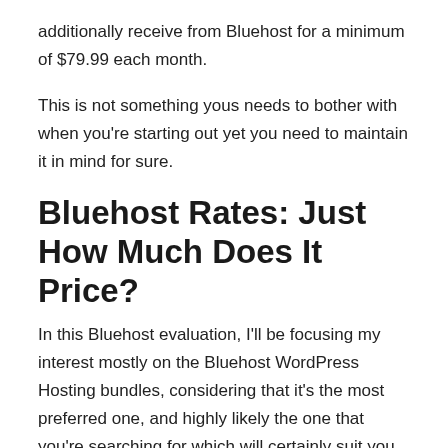additionally receive from Bluehost for a minimum of $79.99 each month.
This is not something yous needs to bother with when you're starting out yet you need to maintain it in mind for sure.
Bluehost Rates: Just How Much Does It Price?
In this Bluehost evaluation, I'll be focusing my interest mostly on the Bluehost WordPress Hosting bundles, considering that it's the most preferred one, and highly likely the one that you're searching for which will certainly suit you the best (unless you're a big brand name, business or website).
The 3 available plans, are as complies with:
Fundamental Plan– $2.95 each month/ $7.99 routine cost